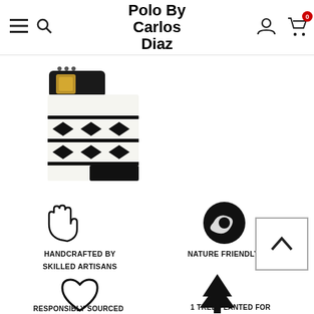Polo By Carlos Diaz
[Figure (photo): Polo belt with black and white woven pattern and gold buckle]
[Figure (illustration): Hand icon representing handcrafted]
HANDCRAFTED BY SKILLED ARTISANS
[Figure (illustration): Globe icon representing nature friendly dyes]
NATURE FRIENDLY DYES
[Figure (illustration): Heart icon representing responsibly sourced leather]
RESPONSIBLY SOURCED LEATHER
[Figure (illustration): Tree icon representing 1 tree planted for every product sold]
1 TREE PLANTED FOR EVERY PRODUCT SOLD